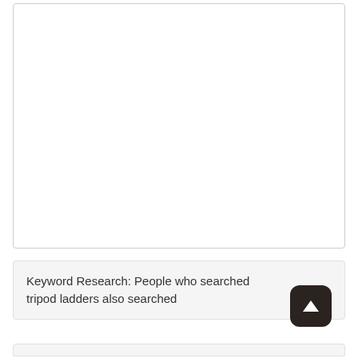[Figure (other): Large white empty box with light gray border, taking up the top portion of the page.]
Keyword Research: People who searched tripod ladders also searched
[Figure (other): Dark rounded square button with upward arrow icon (scroll-to-top button).]
[Figure (other): Partial gray bar visible at the bottom of the page, beginning of another section.]